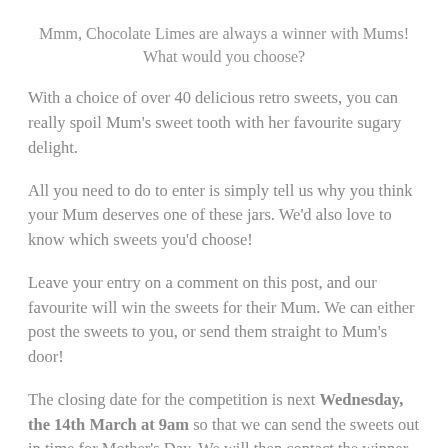Mmm, Chocolate Limes are always a winner with Mums! What would you choose?
With a choice of over 40 delicious retro sweets, you can really spoil Mum's sweet tooth with her favourite sugary delight.
All you need to do to enter is simply tell us why you think your Mum deserves one of these jars. We'd also love to know which sweets you'd choose!
Leave your entry on a comment on this post, and our favourite will win the sweets for their Mum. We can either post the sweets to you, or send them straight to Mum's door!
The closing date for the competition is next Wednesday, the 14th March at 9am so that we can send the sweets out in time for Mother's Day. We will then contact the winner that morning via email, and also announce on the blog, so do keep